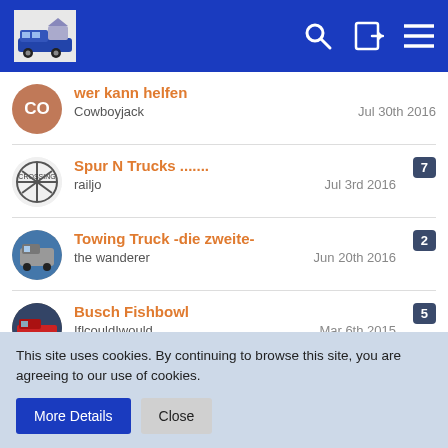Forum thread list header with logo, search, login, and menu icons
wer kann helfen
Cowboyjack
Jul 30th 2016
Spur N Trucks .......
railjo
Jul 3rd 2016
7 replies
Towing Truck -die zweite-
the wanderer
Jun 20th 2016
2 replies
Busch Fishbowl
IflcouldIwould
Mar 6th 2015
5 replies
Towing Truck
jensemann1962
Sep 23rd 2014
6 replies
This site uses cookies. By continuing to browse this site, you are agreeing to our use of cookies.
More Details   Close